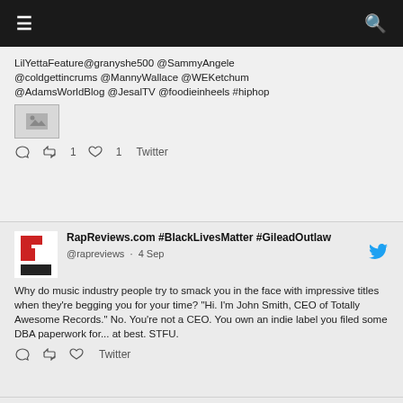≡  🔍
LilYettaFeature @granyshe500 @SammyAngele @coldgettincrums @MannyWallace @WEKetchum @AdamsWorldBlog @JesalTV @foodieinheels #hiphop
1  1  Twitter
RapReviews.com #BlackLivesMatter #GileadOutlaw
@rapreviews · 4 Sep
Why do music industry people try to smack you in the face with impressive titles when they're begging you for your time? "Hi. I'm John Smith, CEO of Totally Awesome Records." No. You're not a CEO. You own an indie label you filed some DBA paperwork for... at best. STFU.
Twitter
RapReviews.com #BlackLivesMatter #GileadOutlaw
@rapreviews